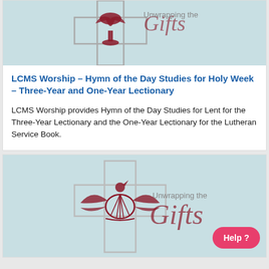[Figure (illustration): Partial view of LCMS Worship logo — cross with chalice and dove in dark red/maroon on light blue-green background, with 'Unwrapping the Gifts' script text in grey/red]
LCMS Worship – Hymn of the Day Studies for Holy Week – Three-Year and One-Year Lectionary
LCMS Worship provides Hymn of the Day Studies for Lent for the Three-Year Lectionary and the One-Year Lectionary for the Lutheran Service Book.
[Figure (illustration): LCMS 'Unwrapping the Gifts' logo — cross with shell/scallop and dove motif in dark red on light blue-green background, with 'Unwrapping the Gifts' script text, and a pink 'Help?' button overlay]